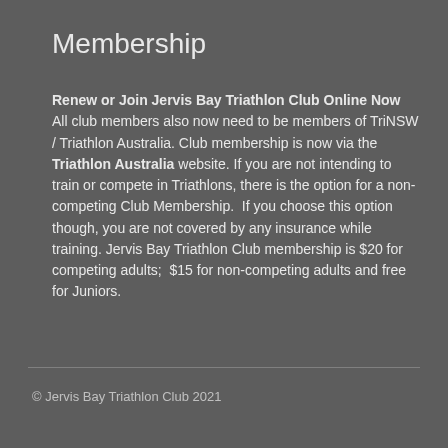Membership
Renew or Join Jervis Bay Triathlon Club Online Now   All club members also now need to be members of TriNSW / Triathlon Australia. Club membership is now via the Triathlon Australia website. If you are not intending to train or compete in Triathlons, there is the option for a non-competing Club Membership.  If you choose this option though, you are not covered by any insurance while training. Jervis Bay Triathlon Club membership is $20 for competing adults;  $15 for non-competing adults and free for Juniors.
© Jervis Bay Triathlon Club 2021